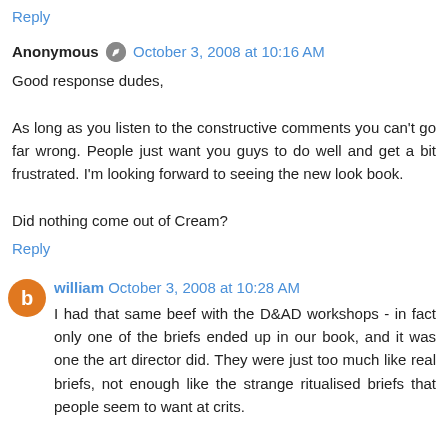Reply
Anonymous [icon] October 3, 2008 at 10:16 AM
Good response dudes,

As long as you listen to the constructive comments you can't go far wrong. People just want you guys to do well and get a bit frustrated. I'm looking forward to seeing the new look book.

Did nothing come out of Cream?
Reply
william October 3, 2008 at 10:28 AM
I had that same beef with the D&AD workshops - in fact only one of the briefs ended up in our book, and it was one the art director did. They were just too much like real briefs, not enough like the strange ritualised briefs that people seem to want at crits.